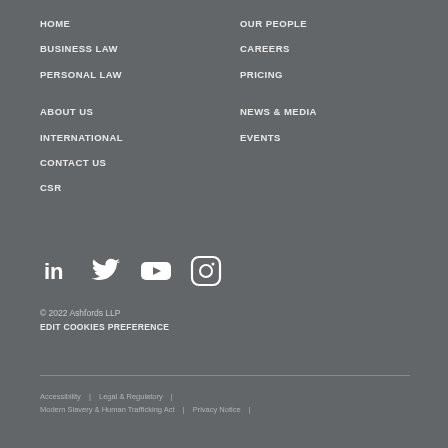HOME
BUSINESS LAW
PERSONAL LAW
ABOUT US
INTERNATIONAL
CONTACT US
CSR
OUR PEOPLE
CAREERS
PRICING
NEWS & MEDIA
EVENTS
[Figure (other): Social media icons: LinkedIn, Twitter, YouTube, Instagram]
© 2022 Ashfords LLP
EDIT COOKIES PREFERENCE
Accessibility  |  Legal & Regulatory  |
Modern Slavery & Human Trafficking Act  |  Privacy Notice  |